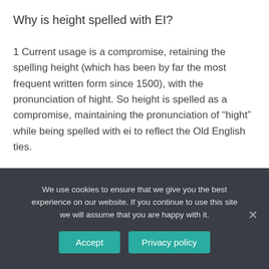Why is height spelled with EI?
1 Current usage is a compromise, retaining the spelling height (which has been by far the most frequent written form since 1500), with the pronunciation of hight. So height is spelled as a compromise, maintaining the pronunciation of “hight” while being spelled with ei to reflect the Old English ties.
What words have IE in it?
We use cookies to ensure that we give you the best experience on our website. If you continue to use this site we will assume that you are happy with it.